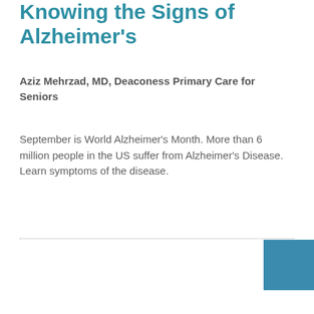Knowing the Signs of Alzheimer's
Aziz Mehrzad, MD, Deaconess Primary Care for Seniors
September is World Alzheimer's Month. More than 6 million people in the US suffer from Alzheimer's Disease. Learn symptoms of the disease.
[Figure (other): Teal/blue decorative square block in lower right corner]